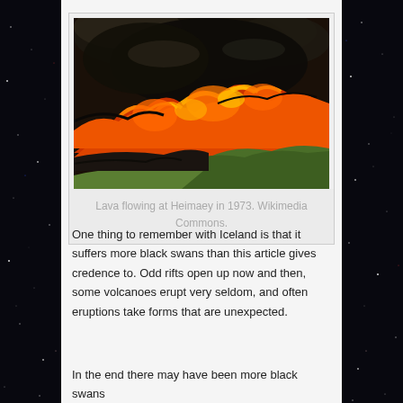[Figure (photo): Aerial photo of lava flowing at Heimaey in 1973, showing bright orange and red molten lava against dark volcanic rock and green terrain]
Lava flowing at Heimaey in 1973. Wikimedia Commons.
One thing to remember with Iceland is that it suffers more black swans than this article gives credence to. Odd rifts open up now and then, some volcanoes erupt very seldom, and often eruptions take forms that are unexpected.
In the end there may have been more black swans